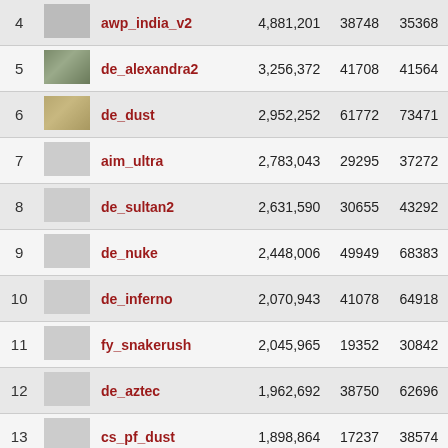| # | Image | Map Name | Total | Col1 | Col2 |
| --- | --- | --- | --- | --- | --- |
| 4 |  | awp_india_v2 | 4,881,201 | 38748 | 35368 |
| 5 | [img] | de_alexandra2 | 3,256,372 | 41708 | 41564 |
| 6 | [img] | de_dust | 2,952,252 | 61772 | 73471 |
| 7 |  | aim_ultra | 2,783,043 | 29295 | 37272 |
| 8 |  | de_sultan2 | 2,631,590 | 30655 | 43292 |
| 9 |  | de_nuke | 2,448,006 | 49949 | 68383 |
| 10 |  | de_inferno | 2,070,943 | 41078 | 64918 |
| 11 |  | fy_snakerush | 2,045,965 | 19352 | 30842 |
| 12 |  | de_aztec | 1,962,692 | 38750 | 62696 |
| 13 |  | cs_pf_dust | 1,898,864 | 17237 | 38574 |
| 14 |  | awp_aztec_lego_hf | 1,820,415 | 22481 | 29730 |
| 15 |  | fy_snow_07 | 1,376,463 | 18175 | 23781 |